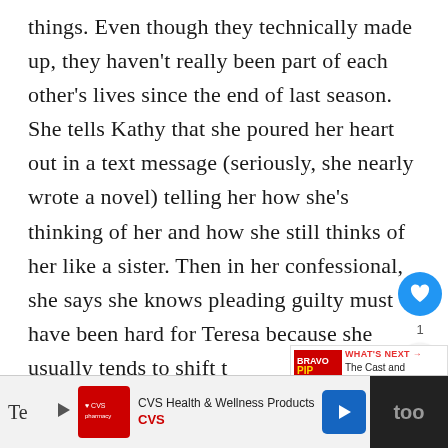things. Even though they technically made up, they haven't really been part of each other's lives since the end of last season. She tells Kathy that she poured her heart out in a text message (seriously, she nearly wrote a novel) telling her how she's thinking of her and how she still thinks of her like a sister. Then in her confessional, she says she knows pleading guilty must have been hard for Teresa because she usually tends to shift t… Wow, Jacqueline. Shady much?
[Figure (screenshot): UI overlay with heart/like button (blue circle), count label '1', and share button on the right side of the text]
[Figure (screenshot): What's Next promo box showing PIP ZING FRI logo and text 'The Cast and Characters ...']
[Figure (screenshot): Footer advertisement bar with CVS Health & Wellness Products ad, play button, blue arrow button, and dark right panel showing 'too']